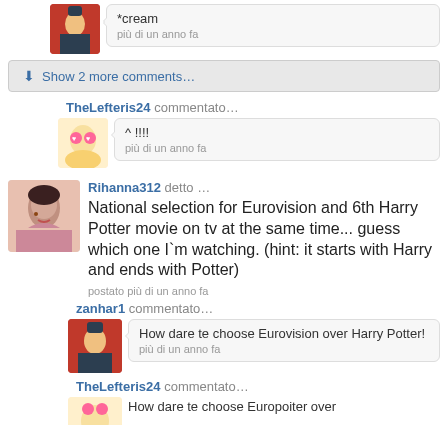*cream
piu di un anno fa
Show 2 more comments...
TheLefteris24 commentato...
^ !!!!
piu di un anno fa
Rihanna312 detto ...
National selection for Eurovision and 6th Harry Potter movie on tv at the same time... guess which one I`m watching. (hint: it starts with Harry and ends with Potter)
postato piu di un anno fa
zanhar1 commentato...
How dare te choose Eurovision over Harry Potter!
piu di un anno fa
TheLefteris24 commentato...
How dare te choose Europoiter over